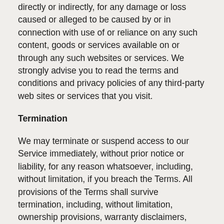directly or indirectly, for any damage or loss caused or alleged to be caused by or in connection with use of or reliance on any such content, goods or services available on or through any such websites or services. We strongly advise you to read the terms and conditions and privacy policies of any third-party web sites or services that you visit.
Termination
We may terminate or suspend access to our Service immediately, without prior notice or liability, for any reason whatsoever, including, without limitation, if you breach the Terms. All provisions of the Terms shall survive termination, including, without limitation, ownership provisions, warranty disclaimers, indemnity and limitations of liability. Upon termination, your right to use the Service will immediately cease.
Indemnification